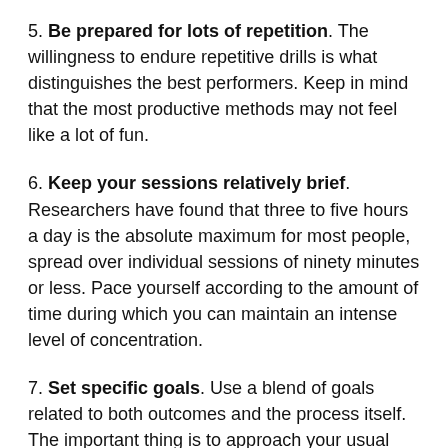5. Be prepared for lots of repetition. The willingness to endure repetitive drills is what distinguishes the best performers. Keep in mind that the most productive methods may not feel like a lot of fun.
6. Keep your sessions relatively brief. Researchers have found that three to five hours a day is the absolute maximum for most people, spread over individual sessions of ninety minutes or less. Pace yourself according to the amount of time during which you can maintain an intense level of concentration.
7. Set specific goals. Use a blend of goals related to both outcomes and the process itself. The important thing is to approach your usual tasks with the mindset of becoming better at them.
8. ...